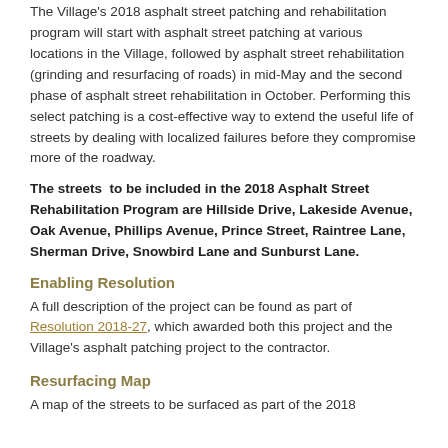The Village's 2018 asphalt street patching and rehabilitation program will start with asphalt street patching at various locations in the Village, followed by asphalt street rehabilitation (grinding and resurfacing of roads) in mid-May and the second phase of asphalt street rehabilitation in October. Performing this select patching is a cost-effective way to extend the useful life of streets by dealing with localized failures before they compromise more of the roadway.
The streets to be included in the 2018 Asphalt Street Rehabilitation Program are Hillside Drive, Lakeside Avenue, Oak Avenue, Phillips Avenue, Prince Street, Raintree Lane, Sherman Drive, Snowbird Lane and Sunburst Lane.
Enabling Resolution
A full description of the project can be found as part of Resolution 2018-27, which awarded both this project and the Village's asphalt patching project to the contractor.
Resurfacing Map
A map of the streets to be surfaced as part of the 2018